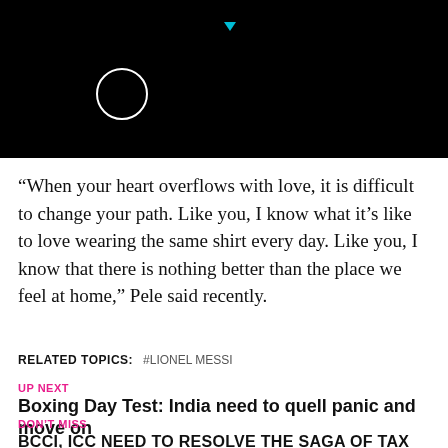[Figure (screenshot): Black header area with a white circle outline and a small cyan downward-pointing triangle/arrow at top center]
“When your heart overflows with love, it is difficult to change your path. Like you, I know what it’s like to love wearing the same shirt every day. Like you, I know that there is nothing better than the place we feel at home,” Pele said recently.
RELATED TOPICS:   #LIONEL MESSI
UP NEXT
Boxing Day Test: India need to quell panic and move on
DON’T MISS
BCCI, ICC NEED TO RESOLVE THE SAGA OF TAX EXEMPTION